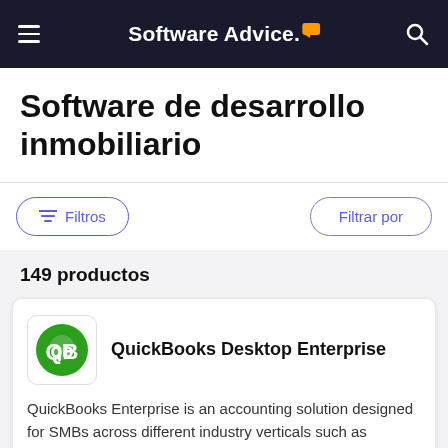Software Advice
Software de desarrollo inmobiliario
Filtros   Filtrar por
149 productos
[Figure (logo): QuickBooks logo - green circle with QB letters in white]
QuickBooks Desktop Enterprise
QuickBooks Enterprise is an accounting solution designed for SMBs across different industry verticals such as construction, nonprofit distribution